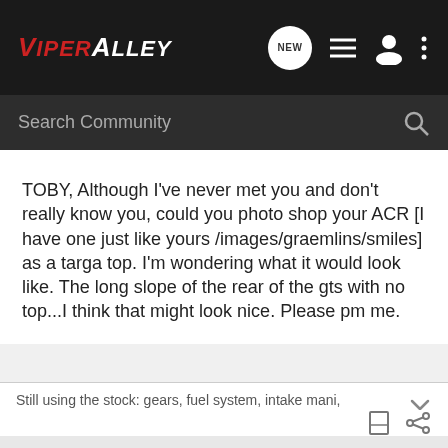ViperAlley
Search Community
TOBY, Although I've never met you and don't really know you, could you photo shop your ACR [I have one just like yours /images/graemlins/smiles] as a targa top. I'm wondering what it would look like. The long slope of the rear of the gts with no top...I think that might look nice. Please pm me.
Still using the stock: gears, fuel system, intake mani, airbox and TBs.